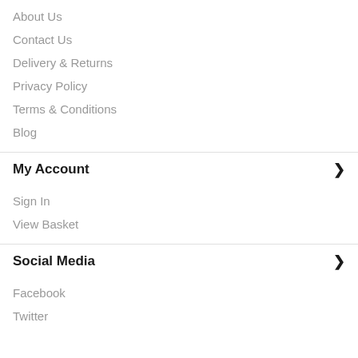About Us
Contact Us
Delivery & Returns
Privacy Policy
Terms & Conditions
Blog
My Account
Sign In
View Basket
Social Media
Facebook
Twitter